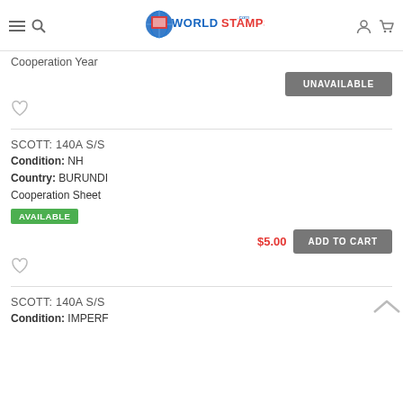WorldStamps.com
Cooperation Year
UNAVAILABLE
SCOTT: 140A S/S
Condition: NH
Country: BURUNDI
Cooperation Sheet
AVAILABLE
$5.00  ADD TO CART
SCOTT: 140A S/S
Condition: IMPERF